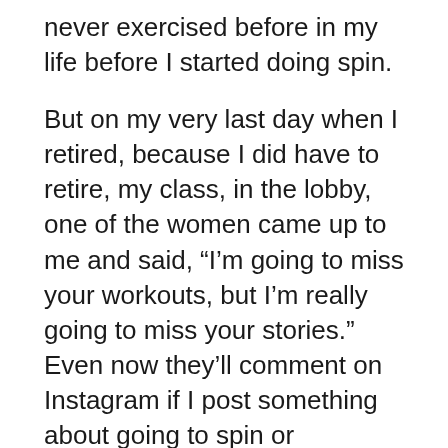never exercised before in my life before I started doing spin.

But on my very last day when I retired, because I did have to retire, my class, in the lobby, one of the women came up to me and said, “I’m going to miss your workouts, but I’m really going to miss your stories.” Even now they’ll comment on Instagram if I post something about going to spin or something. They’ll be like, “We miss your stories.” It’s true in spin, it’s really true if you look at anything and you were to really look at it, most of the